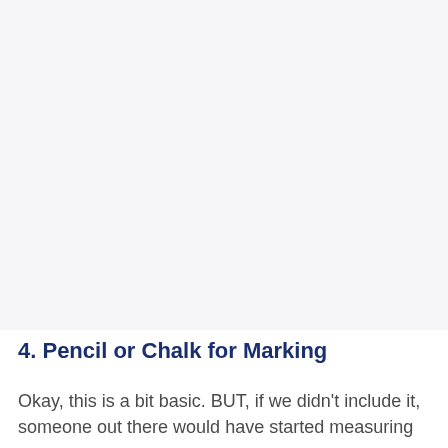[Figure (photo): Large image placeholder area with light gray background, appears to be a photo or illustration area that is mostly blank/loading]
4. Pencil or Chalk for Marking
Okay, this is a bit basic. BUT, if we didn't include it, someone out there would have started measuring